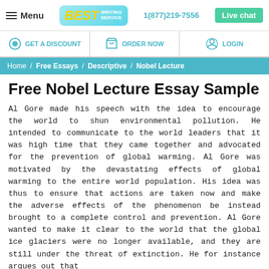Menu | BEST WRITING SERVICE | 1(877)219-7556 | Live chat
GET A DISCOUNT | ORDER NOW | LOGIN
Home / Free Essays / Descriptive / Nobel Lecture
Free Nobel Lecture Essay Sample
Al Gore made his speech with the idea to encourage the world to shun environmental pollution. He intended to communicate to the world leaders that it was high time that they came together and advocated for the prevention of global warming. Al Gore was motivated by the devastating effects of global warming to the entire world population. His idea was thus to ensure that actions are taken now and make the adverse effects of the phenomenon be instead brought to a complete control and prevention. Al Gore wanted to make it clear to the world that the global ice glaciers were no longer available, and they are still under the threat of extinction. He for instance argues out that